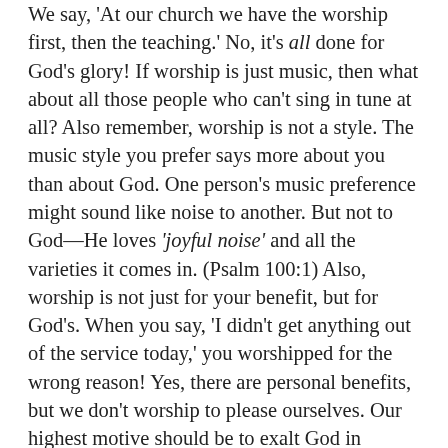We say, 'At our church we have the worship first, then the teaching.' No, it's all done for God's glory! If worship is just music, then what about all those people who can't sing in tune at all? Also remember, worship is not a style. The music style you prefer says more about you than about God. One person's music preference might sound like noise to another. But not to God—He loves 'joyful noise' and all the varieties it comes in. (Psalm 100:1) Also, worship is not just for your benefit, but for God's. When you say, 'I didn't get anything out of the service today,' you worshipped for the wrong reason! Yes, there are personal benefits, but we don't worship to please ourselves. Our highest motive should be to exalt God in whatever we do. Finally, worship doesn't just happen in church; as Martin Luther said, 'A dairymaid can milk cows to the glory of God.' The secret of worship is in doing everything 'as unto the Lord'. The Bible says, '...because of God's great mercy to us I appeal to you: Offer